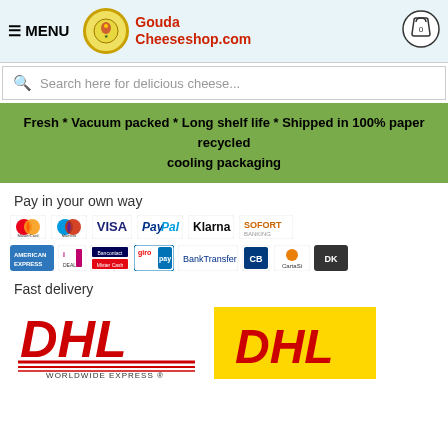MENU | Gouda Cheeseshop.com
Search here for delicious cheese...
Fresh * Vacuum packed * Long shelf life * Shipped in 100% paper recycled cooling packaging
Pay in your own way
[Figure (logo): Payment method logos: Mastercard, Maestro, VISA, PayPal, Klarna, SOFORT Banking, American Express, iDEAL, Bancontact/Mister Cash, giropay, BankTransfer, CB, CartaSi, DK]
Fast delivery
[Figure (logo): DHL Worldwide Express logo (white background) and DHL logo (yellow background)]